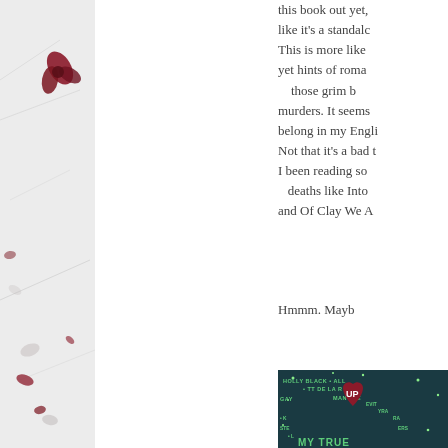[Figure (photo): Decorative left column with white crumpled paper background and scattered dark red/pink flower petals]
this book out yet, like it's a standalone. This is more like yet hints of roma those grim b murders. It seems belong in my Engli Not that it's a bad I been reading so deaths like Into and Of Clay We A
Hmmm. Mayb
[Figure (photo): Book cover showing 'Up My True' with a dark teal background, star decorations, and a dark red heart. Authors listed: Holly Black, Ally, T De La R, Gay Man, Je, Evit, Yra, Ra, Ste, Ers, L]